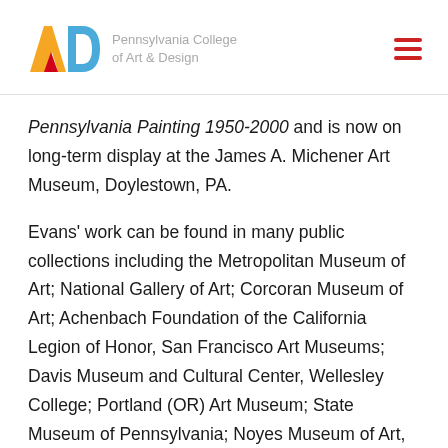[Figure (logo): Pennsylvania College of Art & Design logo with stylized A and D letters in yellow and blue, with red element, and text 'Pennsylvania College of Art & Design' in gray]
Pennsylvania Painting 1950-2000 and is now on long-term display at the James A. Michener Art Museum, Doylestown, PA.
Evans' work can be found in many public collections including the Metropolitan Museum of Art; National Gallery of Art; Corcoran Museum of Art; Achenbach Foundation of the California Legion of Honor, San Francisco Art Museums; Davis Museum and Cultural Center, Wellesley College; Portland (OR) Art Museum; State Museum of Pennsylvania; Noyes Museum of Art, Oceanville, NJ; James A. Michener Art Museum, Doylestown, PA; Southern Alleghenies Museum of Art,